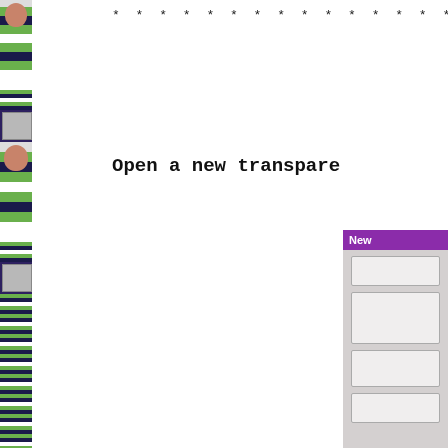[Figure (screenshot): Left sidebar with repeating photos of a person wearing a green and navy striped shirt, arranged vertically along the left edge of the page]
* * * * * * * * * * * * * * * * * * * * * * *
Open a new transpare
[Figure (screenshot): A dialog or panel screenshot with a purple header bar labeled 'New' and grey body containing several input field rows]